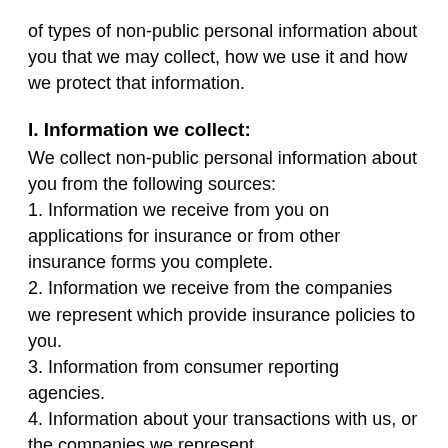of types of non-public personal information about you that we may collect, how we use it and how we protect that information.
I. Information we collect:
We collect non-public personal information about you from the following sources:
1. Information we receive from you on applications for insurance or from other insurance forms you complete.
2. Information we receive from the companies we represent which provide insurance policies to you.
3. Information from consumer reporting agencies.
4. Information about your transactions with us, or the companies we represent.
5. Information from other sources, such as employers or government Agencies.
6. Information from visits from/to our website.
The type of information we collect is related to the